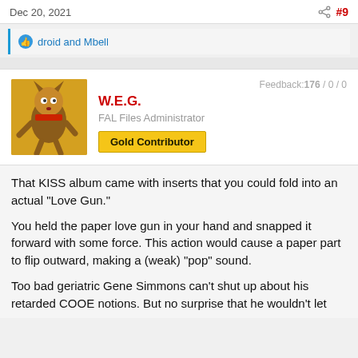Dec 20, 2021  #9
droid and Mbell
W.E.G.
FAL Files Administrator
Gold Contributor
Feedback:176 / 0 / 0
That KISS album came with inserts that you could fold into an actual “Love Gun.”
You held the paper love gun in your hand and snapped it forward with some force. This action would cause a paper part to flip outward, making a (weak) “pop” sound.
Too bad geriatric Gene Simmons can’t shut up about his retarded COOE notions. But no surprise that he wouldn’t let